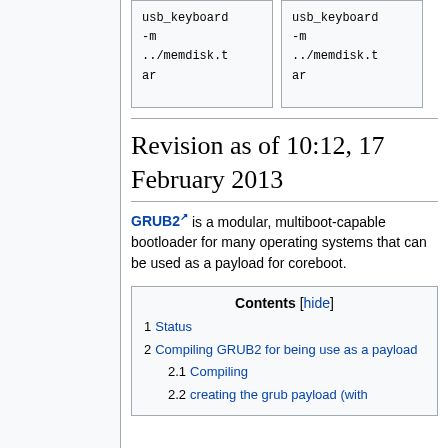[Figure (other): Two code boxes showing: usb_keyboard -m ../memdisk.tar]
Revision as of 10:12, 17 February 2013
GRUB2 is a modular, multiboot-capable bootloader for many operating systems that can be used as a payload for coreboot.
| Contents [hide] |
| --- |
| 1 Status |
| 2 Compiling GRUB2 for being use as a payload |
| 2.1 Compiling |
| 2.2 creating the grub payload (with |